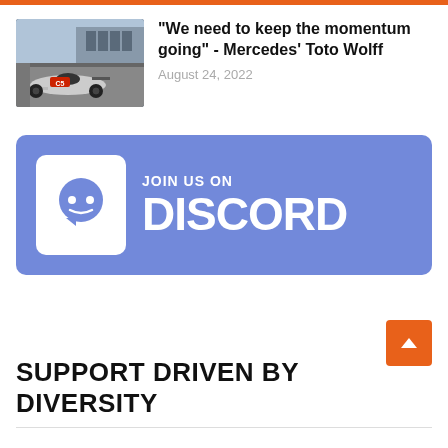[Figure (photo): Orange top bar decorative element]
[Figure (photo): Formula 1 Mercedes car in pit lane]
"We need to keep the momentum going" - Mercedes' Toto Wolff
August 24, 2022
[Figure (logo): Join us on Discord banner with Discord logo and wordmark on purple/blue background]
SUPPORT DRIVEN BY DIVERSITY